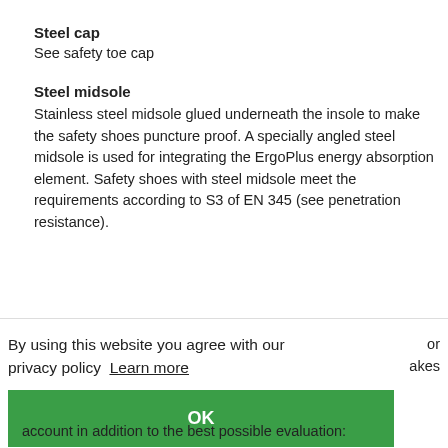Steel cap
See safety toe cap
Steel midsole
Stainless steel midsole glued underneath the insole to make the safety shoes puncture proof. A specially angled steel midsole is used for integrating the ErgoPlus energy absorption element. Safety shoes with steel midsole meet the requirements according to S3 of EN 345 (see penetration resistance).
By using this website you agree with our privacy policy  Learn more
OK
or
akes
parts,
into
account in addition to the best possible evaluation: